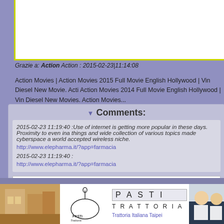[Figure (screenshot): White box with yellow-green border at top of page]
Grazie a: Action Action : 2015-02-23|11:14:08
Action Movies | Action Movies 2015 Full Movie English Hollywood | Vin Diesel New Movie. Action Movies 2014 Full Movie English Hollywood | Vin Diesel New Movies. Action Movies...
Comments:
2015-02-23 11:19:40 :Use of internet is getting more popular in these days. Proximity to even ina things and wide collection of various topics made cyberspace a world accepted wireless niche.
http://www.elepharma.it/?app=farmacia
2015-02-23 11:19:40 :
http://www.elepharma.it/?app=farmacia
[Figure (screenshot): Comment input box with placeholder text 'write your comment...']
Url:
[Figure (logo): Pasti Trattoria banner advertisement at bottom of page]